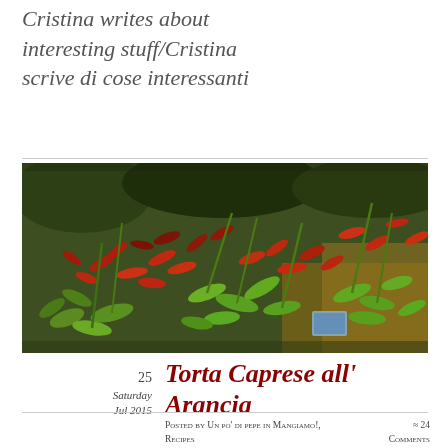Cristina writes about interesting stuff/Cristina scrive di cose interessanti
[Figure (photo): A market display of red and green chili peppers bundled together, photographed outdoors.]
25
Saturday
Jul 2015
Torta Caprese all' Arancia
Posted by Un po' di pepe in Mangiamo!, Recipes   ≈ 24 Comments